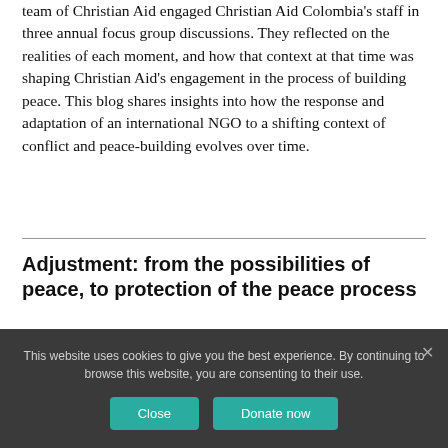team of Christian Aid engaged Christian Aid Colombia's staff in three annual focus group discussions. They reflected on the realities of each moment, and how that context at that time was shaping Christian Aid's engagement in the process of building peace. This blog shares insights into how the response and adaptation of an international NGO to a shifting context of conflict and peace-building evolves over time.
Adjustment: from the possibilities of peace, to protection of the peace process
This website uses cookies to give you the best experience. By continuing to browse this website, you are consenting to their use.